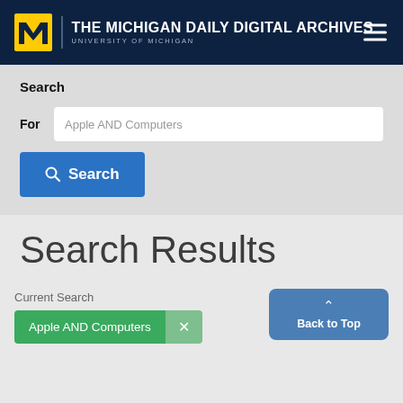THE MICHIGAN DAILY DIGITAL ARCHIVES · UNIVERSITY OF MICHIGAN
Search
For: Apple AND Computers
Search (button)
Search Results
Current Search
Apple AND Computers
Back to Top